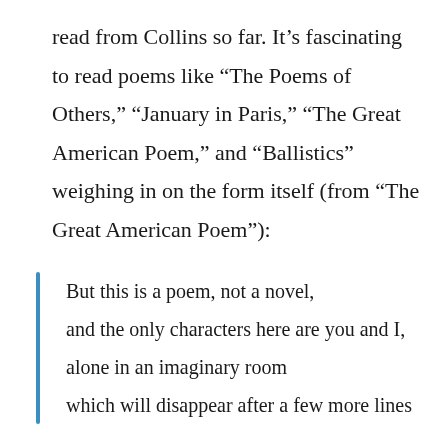read from Collins so far. It’s fascinating to read poems like “The Poems of Others,” “January in Paris,” “The Great American Poem,” and “Ballistics” weighing in on the form itself (from “The Great American Poem”):
But this is a poem, not a novel,
and the only characters here are you and I,
alone in an imaginary room
which will disappear after a few more lines